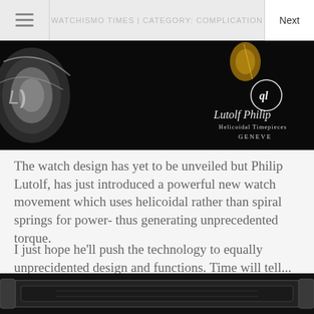WATCHISMO TIMES | CATEGORY: COMPLICATION
[Figure (photo): Dark/black background luxury watch movement photo with Lutolf Philip Helicoidal Timepieces Geneve logo in white script on the right side]
The watch design has yet to be unveiled but Philip Lutolf, has just introduced a powerful new watch movement which uses helicoidal rather than spiral springs for power- thus generating unprecedented torque.
I just hope he'll push the technology to equally unprecidented design and functions. Time will tell...
[Figure (photo): Close-up photo of a watch movement/case in dark black and silver tones, partially visible at the bottom of the page]